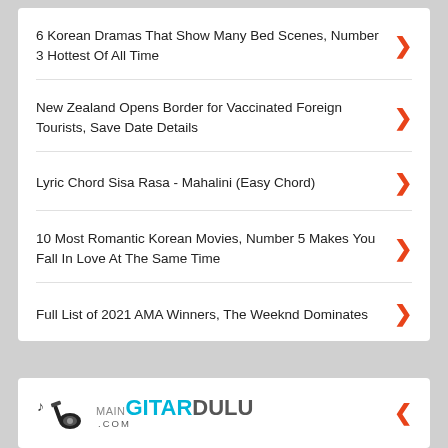6 Korean Dramas That Show Many Bed Scenes, Number 3 Hottest Of All Time
New Zealand Opens Border for Vaccinated Foreign Tourists, Save Date Details
Lyric Chord Sisa Rasa - Mahalini (Easy Chord)
10 Most Romantic Korean Movies, Number 5 Makes You Fall In Love At The Same Time
Full List of 2021 AMA Winners, The Weeknd Dominates
MainGitarDulu.com